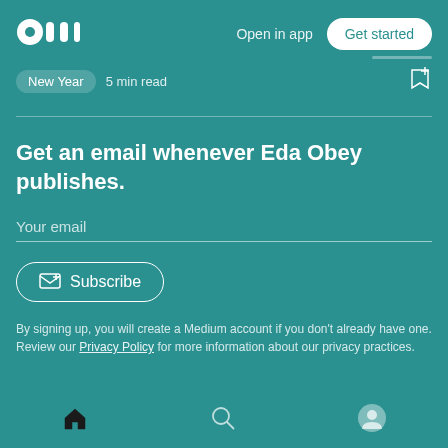Medium logo | Open in app | Get started
New Year  5 min read
Get an email whenever Eda Obey publishes.
Your email
Subscribe
By signing up, you will create a Medium account if you don't already have one. Review our Privacy Policy for more information about our privacy practices.
Home | Search | Profile